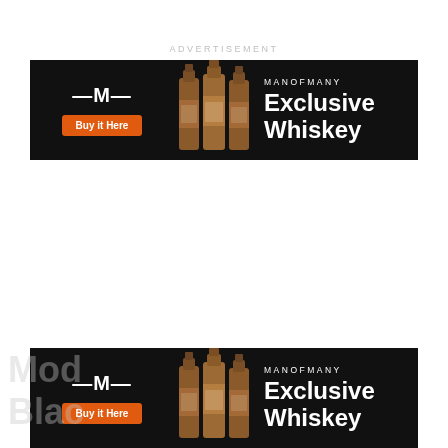ADVERTISEMENT
[Figure (infographic): Man of Many Exclusive Whiskey advertisement banner. Black background. Left side shows Man of Many logo (stylized M) and orange 'Buy it Here' button. Center shows three whiskey bottle images. Right side shows 'MANOFMANY' in small white text and 'Exclusive Whiskey' in large white bold text.]
[Figure (infographic): Second Man of Many Exclusive Whiskey advertisement banner at bottom of page (partially cropped). Same design as top banner. Also shows partial text 'Mod Blac' in light gray at bottom left.]